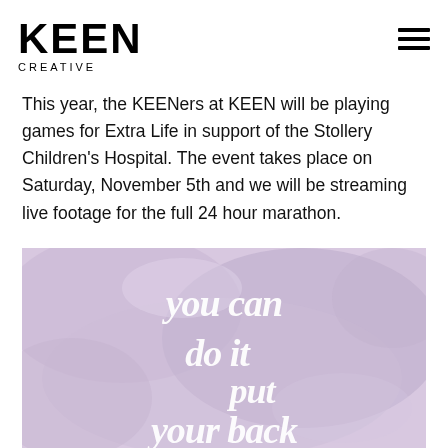KEEN CREATIVE
This year, the KEENers at KEEN will be playing games for Extra Life in support of the Stollery Children's Hospital. The event takes place on Saturday, November 5th and we will be streaming live footage for the full 24 hour marathon.
[Figure (illustration): Decorative image with lavender/purple watercolor background and white hand-lettered script text reading 'you can do it put your back']